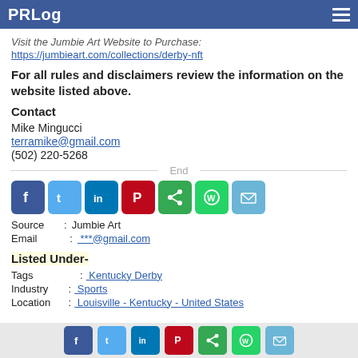PRLog
Visit the Jumbie Art Website to Purchase:
https://jumbieart.com/collections/derby-nft
For all rules and disclaimers review the information on the website listed above.
Contact
Mike Mingucci
terramike@gmail.com
(502) 220-5268
End
[Figure (infographic): Social media sharing icons: Facebook, Twitter, LinkedIn, Pinterest, Share, WhatsApp, Email]
Source : Jumbie Art
Email  :  ***@gmail.com
Listed Under-
Tags       : Kentucky Derby
Industry : Sports
Location : Louisville - Kentucky - United States
Social sharing footer icons